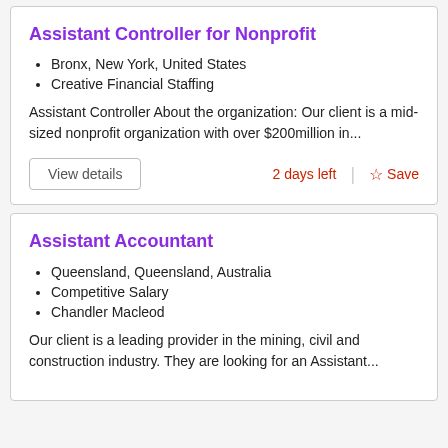Assistant Controller for Nonprofit
Bronx, New York, United States
Creative Financial Staffing
Assistant Controller About the organization: Our client is a mid-sized nonprofit organization with over $200million in...
View details
2 days left
☆ Save
Assistant Accountant
Queensland, Queensland, Australia
Competitive Salary
Chandler Macleod
Our client is a leading provider in the mining, civil and construction industry. They are looking for an Assistant...